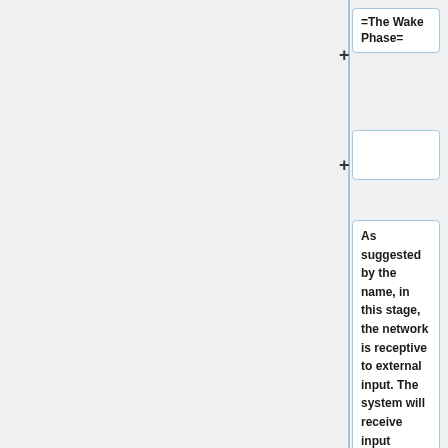=The Wake Phase=
As suggested by the name, in this stage, the network is receptive to external input. The system will receive input vectors which will be converted into internal representations across the hidden layers. To allow the input to propagate